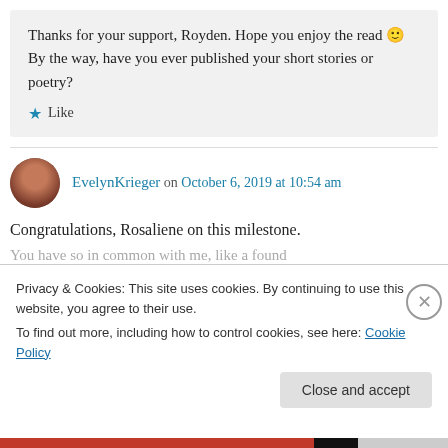Thanks for your support, Royden. Hope you enjoy the read 🙂
By the way, have you ever published your short stories or poetry?
★ Like
EvelynKrieger on October 6, 2019 at 10:54 am
Congratulations, Rosaliene on this milestone.
Privacy & Cookies: This site uses cookies. By continuing to use this website, you agree to their use.
To find out more, including how to control cookies, see here: Cookie Policy
Close and accept